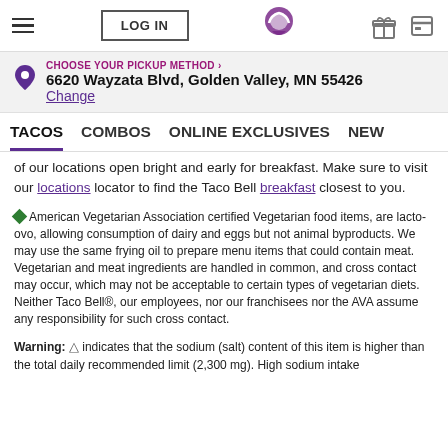LOG IN | Taco Bell logo | gift icon | card icon
CHOOSE YOUR PICKUP METHOD > 6620 Wayzata Blvd, Golden Valley, MN 55426 Change
TACOS  COMBOS  ONLINE EXCLUSIVES  NEW
of our locations open bright and early for breakfast. Make sure to visit our locations locator to find the Taco Bell breakfast closest to you.
◆American Vegetarian Association certified Vegetarian food items, are lacto-ovo, allowing consumption of dairy and eggs but not animal byproducts. We may use the same frying oil to prepare menu items that could contain meat. Vegetarian and meat ingredients are handled in common, and cross contact may occur, which may not be acceptable to certain types of vegetarian diets. Neither Taco Bell®, our employees, nor our franchisees nor the AVA assume any responsibility for such cross contact.
Warning: △ indicates that the sodium (salt) content of this item is higher than the total daily recommended limit (2,300 mg). High sodium intake